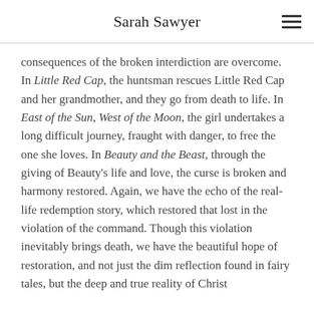Sarah Sawyer
consequences of the broken interdiction are overcome. In Little Red Cap, the huntsman rescues Little Red Cap and her grandmother, and they go from death to life. In East of the Sun, West of the Moon, the girl undertakes a long difficult journey, fraught with danger, to free the one she loves. In Beauty and the Beast, through the giving of Beauty’s life and love, the curse is broken and harmony restored. Again, we have the echo of the real-life redemption story, which restored that lost in the violation of the command. Though this violation inevitably brings death, we have the beautiful hope of restoration, and not just the dim reflection found in fairy tales, but the deep and true reality of Christ